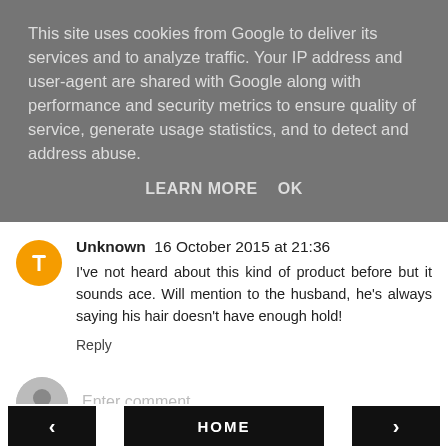This site uses cookies from Google to deliver its services and to analyze traffic. Your IP address and user-agent are shared with Google along with performance and security metrics to ensure quality of service, generate usage statistics, and to detect and address abuse.
LEARN MORE   OK
Unknown  16 October 2015 at 21:36
I've not heard about this kind of product before but it sounds ace. Will mention to the husband, he's always saying his hair doesn't have enough hold!
Reply
Enter comment
< HOME >